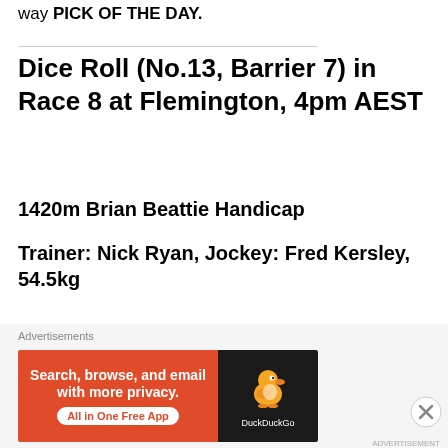way PICK OF THE DAY.
Dice Roll (No.13, Barrier 7) in Race 8 at Flemington, 4pm AEST
1420m Brian Beattie Handicap
Trainer: Nick Ryan, Jockey: Fred Kersley, 54.5kg
Heading back to headquarters for the first time in a fortnight, I'm hitching on to the bandwagon of the French horse from France, via the way of
[Figure (infographic): DuckDuckGo advertisement banner: orange left panel with text 'Search, browse, and email with more privacy. All in One Free App', dark right panel with DuckDuckGo duck logo and brand name.]